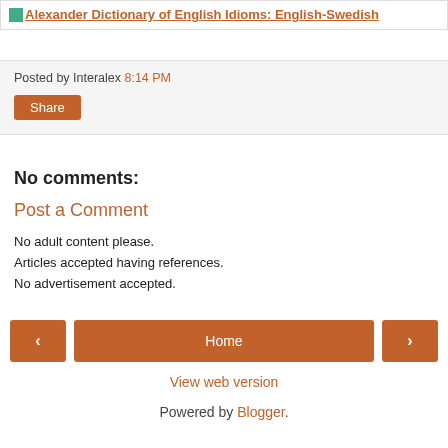Alexander Dictionary of English Idioms: English-Swedish
Posted by Interalex 8:14 PM
Share
No comments:
Post a Comment
No adult content please.
Articles accepted having references.
No advertisement accepted.
Home
View web version
Powered by Blogger.